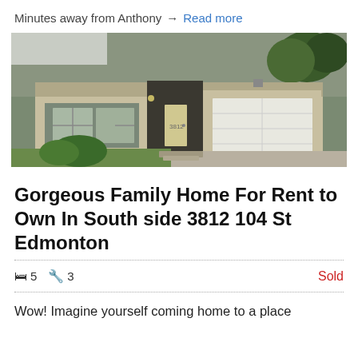Minutes away from Anthony → Read more
[Figure (photo): Front exterior of a single-story bungalow with attached garage, tan/beige siding, dark stone accent on entry, concrete driveway, green lawn, and trees in background.]
Gorgeous Family Home For Rent to Own In South side 3812 104 St Edmonton
🛏 5  🔧 3   Sold
Wow! Imagine yourself coming home to a place